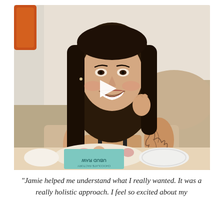[Figure (photo): A smiling young woman with long dark hair, a tattoo on her arm, wearing a black top, sitting at a table with a box labeled 'UBUD RAW CHOCOLATE FACTORY' and floral items. A white play button triangle overlay is centered on the image, indicating a video thumbnail.]
"Jamie helped me understand what I really wanted. It was a really holistic approach. I feel so excited about my